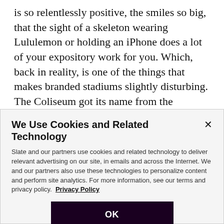is so relentlessly positive, the smiles so big, that the sight of a skeleton wearing Lululemon or holding an iPhone does a lot of your expository work for you. Which, back in reality, is one of the things that makes branded stadiums slightly disturbing. The Coliseum got its name from the colossal statue of Nero that adjoined it. (The statue was given a number of different heads over the years, depending on who was in power.) As
We Use Cookies and Related Technology
Slate and our partners use cookies and related technology to deliver relevant advertising on our site, in emails and across the Internet. We and our partners also use these technologies to personalize content and perform site analytics. For more information, see our terms and privacy policy.  Privacy Policy
OK